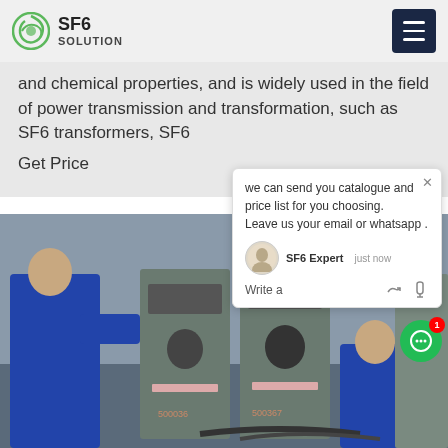SF6 SOLUTION
and chemical properties, and is widely used in the field of power transmission and transformation, such as SF6 transformers, SF6
Get Price
[Figure (photo): Workers in blue overalls servicing SF6 gas equipment with serial numbers 500036X and 500367X in an industrial facility]
we can send you catalogue and price list for you choosing.
Leave us your email or whatsapp .

SF6 Expert    just now
Write a